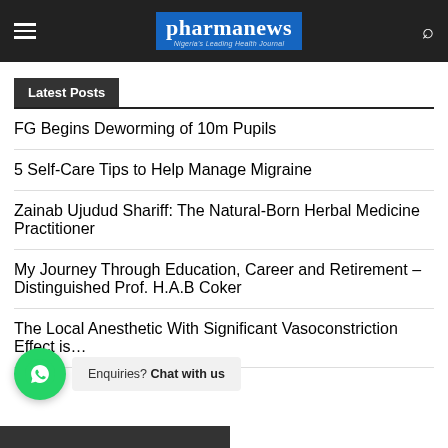pharmanews — Nigeria's Leading Health Journal
Latest Posts
FG Begins Deworming of 10m Pupils
5 Self-Care Tips to Help Manage Migraine
Zainab Ujudud Shariff: The Natural-Born Herbal Medicine Practitioner
My Journey Through Education, Career and Retirement – Distinguished Prof. H.A.B Coker
The Local Anesthetic With Significant Vasoconstriction Effect is…
Enquiries? Chat with us